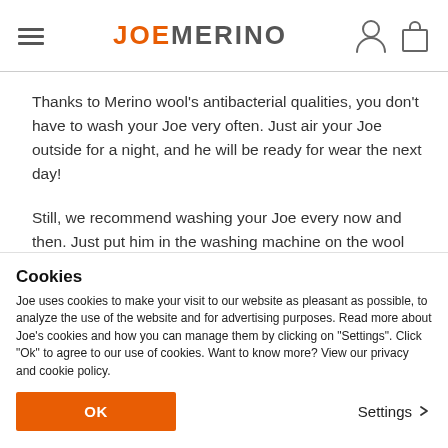JOE MERINO
Thanks to Merino wool's antibacterial qualities, you don't have to wash your Joe very often. Just air your Joe outside for a night, and he will be ready for wear the next day!
Still, we recommend washing your Joe every now and then. Just put him in the washing machine on the wool cycle at 30° and...
Cookies
Joe uses cookies to make your visit to our website as pleasant as possible, to analyze the use of the website and for advertising purposes. Read more about Joe's cookies and how you can manage them by clicking on "Settings". Click "Ok" to agree to our use of cookies. Want to know more? View our privacy and cookie policy.